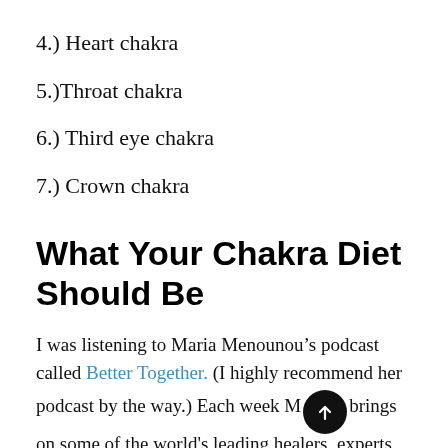4.) Heart chakra
5.)Throat chakra
6.) Third eye chakra
7.) Crown chakra
What Your Chakra Diet Should Be
I was listening to Maria Menounou’s podcast called Better Together. (I highly recommend her podcast by the way.) Each week M brings on some of the world’s leading healers, experts, influential celebrities & game-